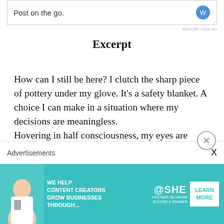[Figure (screenshot): Top banner advertisement with text 'Post on the go.' and a circular icon]
REPORT THIS AD
Excerpt
How can I still be here? I clutch the sharp piece of pottery under my glove. It’s a safety blanket. A choice I can make in a situation where my decisions are meaningless.
Hovering in half consciousness, my eyes are closed when the door bangs open again and Dario enters, carrying a tall glass of water. He sets it on a dirty counter in front of me, then leans against the table, crossing one long leg
Advertisements
[Figure (screenshot): Bottom advertisement banner for SHE Media Partner Network with text 'WE HELP CONTENT CREATORS GROW BUSINESSES THROUGH...' and LEARN MORE button]